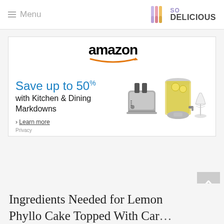Menu | SO DELICIOUS
[Figure (screenshot): Amazon advertisement banner: 'amazon / Save up to 50% with Kitchen & Dining Markdowns / > Learn more' with images of a toaster, drink dispenser, and wine glass. Privacy label at bottom-left.]
Ingredients Needed for Lemon Phyllo Cake Topped With Caramel